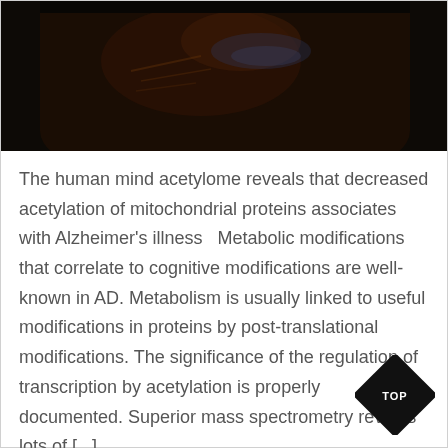[Figure (photo): Close-up photo of a dark amber/brown glass jar or container against a dark background with slight blue reflective highlight]
The human mind acetylome reveals that decreased acetylation of mitochondrial proteins associates with Alzheimer's illness   Metabolic modifications that correlate to cognitive modifications are well-known in AD. Metabolism is usually linked to useful modifications in proteins by post-translational modifications. The significance of the regulation of transcription by acetylation is properly documented. Superior mass spectrometry reveals lots of [...]
READ MORE →
TOP